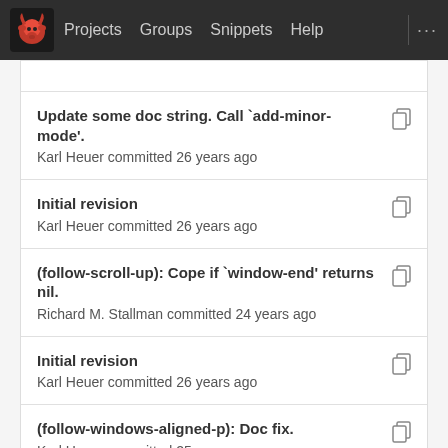Projects  Groups  Snippets  Help  ...
Update some doc string. Call `add-minor-mode'.
Karl Heuer committed 26 years ago
Initial revision
Karl Heuer committed 26 years ago
(follow-scroll-up): Cope if `window-end' returns nil.
Richard M. Stallman committed 24 years ago
Initial revision
Karl Heuer committed 26 years ago
(follow-windows-aligned-p): Doc fix.
Karl Heuer committed 25 years ago